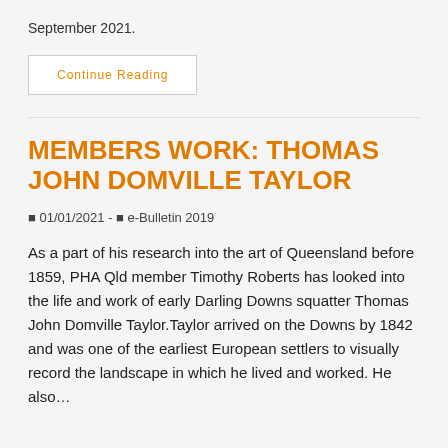September 2021.
Continue Reading
MEMBERS WORK: THOMAS JOHN DOMVILLE TAYLOR
01/01/2021 - e-Bulletin 2019
As a part of his research into the art of Queensland before 1859, PHA Qld member Timothy Roberts has looked into the life and work of early Darling Downs squatter Thomas John Domville Taylor.Taylor arrived on the Downs by 1842 and was one of the earliest European settlers to visually record the landscape in which he lived and worked. He also…